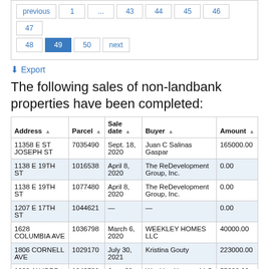previous  1  ...  43  44  45  46  47  48  49  50  next
⬇ Export
The following sales of non-landbank properties have been completed:
| Address | Parcel | Sale date | Buyer | Amount |
| --- | --- | --- | --- | --- |
| 11358 E ST JOSEPH ST | 7035490 | Sept. 18, 2020 | Juan C Salinas Gaspar | 165000.00 |
| 1138 E 19TH ST | 1016538 | April 8, 2020 | The ReDevelopment Group, Inc. | 0.00 |
| 1138 E 19TH ST | 1077480 | April 8, 2020 | The ReDevelopment Group, Inc. | 0.00 |
| 1207 E 17TH ST | 1044621 | — | — | 0.00 |
| 1628 COLUMBIA AVE | 1036798 | March 6, 2020 | WEEKLEY HOMES LLC | 40000.00 |
| 1806 CORNELL AVE | 1029170 | July 30, 2021 | Kristina Gouty | 223000.00 |
| 1929 ALVORD ST | 1043799 | June 29, 2020 | Weekley Homes, LLC | 55000.00 |